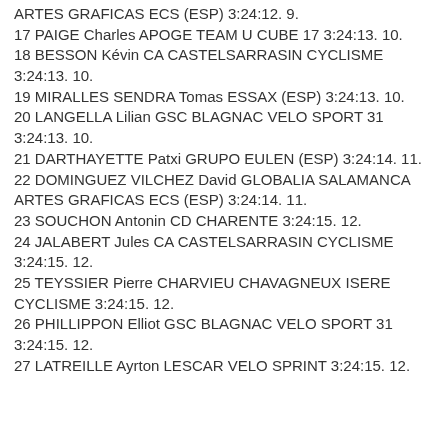ARTES GRAFICAS ECS (ESP) 3:24:12. 9.
17 PAIGE Charles APOGE TEAM U CUBE 17 3:24:13. 10.
18 BESSON Kévin CA CASTELSARRASIN CYCLISME 3:24:13. 10.
19 MIRALLES SENDRA Tomas ESSAX (ESP) 3:24:13. 10.
20 LANGELLA Lilian GSC BLAGNAC VELO SPORT 31 3:24:13. 10.
21 DARTHAYETTE Patxi GRUPO EULEN (ESP) 3:24:14. 11.
22 DOMINGUEZ VILCHEZ David GLOBALIA SALAMANCA ARTES GRAFICAS ECS (ESP) 3:24:14. 11.
23 SOUCHON Antonin CD CHARENTE 3:24:15. 12.
24 JALABERT Jules CA CASTELSARRASIN CYCLISME 3:24:15. 12.
25 TEYSSIER Pierre CHARVIEU CHAVAGNEUX ISERE CYCLISME 3:24:15. 12.
26 PHILLIPPON Elliot GSC BLAGNAC VELO SPORT 31 3:24:15. 12.
27 LATREILLE Ayrton LESCAR VELO SPRINT 3:24:15. 12.